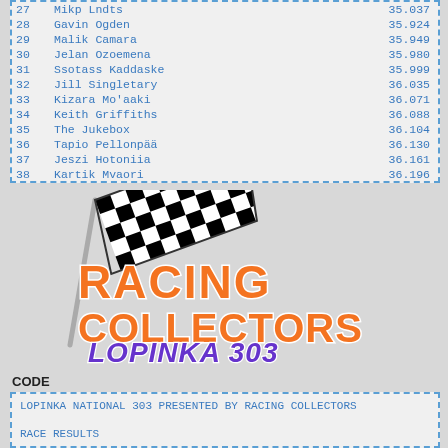| # | Name | Time |
| --- | --- | --- |
| 27 | Mikp Lndts | 35.037 |
| 28 | Gavin Ogden | 35.924 |
| 29 | Malik Camara | 35.949 |
| 30 | Jelan Ozoemena | 35.980 |
| 31 | Ssotass Kaddaske | 35.999 |
| 32 | Jill Singletary | 36.035 |
| 33 | Kizara Mo'aaki | 36.071 |
| 34 | Keith Griffiths | 36.088 |
| 35 | The Jukebox | 36.104 |
| 36 | Tapio Pellonpää | 36.130 |
| 37 | Jeszi Hotoniia | 36.161 |
| 38 | Kartik Mvaori | 36.196 |
[Figure (logo): Racing Collectors Lopinka 303 logo with checkered flag]
CODE
LOPINKA NATIONAL 303 PRESENTED BY RACING COLLECTORS

RACE RESULTS